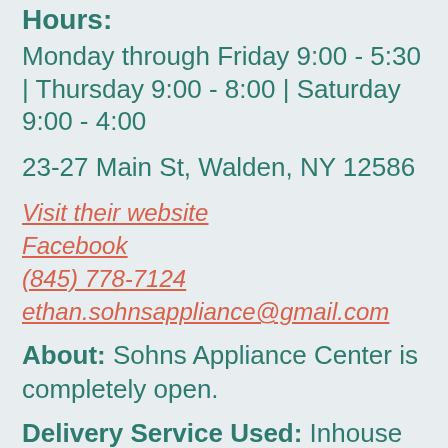Hours:
Monday through Friday 9:00 - 5:30 | Thursday 9:00 - 8:00 | Saturday 9:00 - 4:00
23-27 Main St, Walden, NY 12586
Visit their website
Facebook
(845) 778-7124
ethan.sohnsappliance@gmail.com
About: Sohns Appliance Center is completely open.
Delivery Service Used: Inhouse Delivery